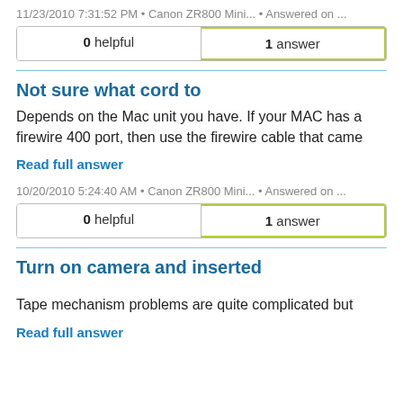11/23/2010 7:31:52 PM • Canon ZR800 Mini... • Answered on ...
| 0 helpful | 1 answer |
| --- | --- |
Not sure what cord to
Depends on the Mac unit you have. If your MAC has a firewire 400 port, then use the firewire cable that came
Read full answer
10/20/2010 5:24:40 AM • Canon ZR800 Mini... • Answered on ...
| 0 helpful | 1 answer |
| --- | --- |
Turn on camera and inserted
Tape mechanism problems are quite complicated but
Read full answer